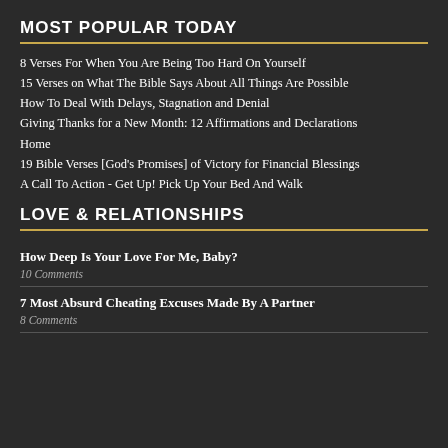MOST POPULAR TODAY
8 Verses For When You Are Being Too Hard On Yourself
15 Verses on What The Bible Says About All Things Are Possible
How To Deal With Delays, Stagnation and Denial
Giving Thanks for a New Month: 12 Affirmations and Declarations
Home
19 Bible Verses [God's Promises] of Victory for Financial Blessings
A Call To Action - Get Up! Pick Up Your Bed And Walk
LOVE & RELATIONSHIPS
How Deep Is Your Love For Me, Baby?
10 Comments
7 Most Absurd Cheating Excuses Made By A Partner
8 Comments